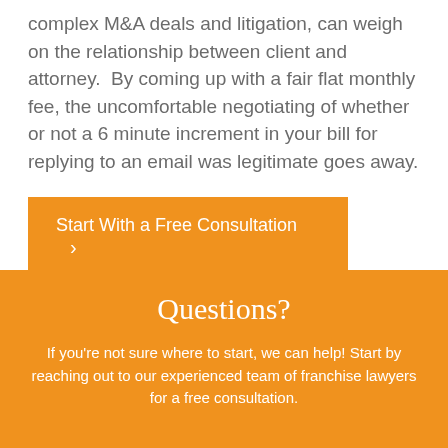complex M&A deals and litigation, can weigh on the relationship between client and attorney.  By coming up with a fair flat monthly fee, the uncomfortable negotiating of whether or not a 6 minute increment in your bill for replying to an email was legitimate goes away.
Start With a Free Consultation ›
Questions?
If you're not sure where to start, we can help! Start by reaching out to our experienced team of franchise lawyers for a free consultation.